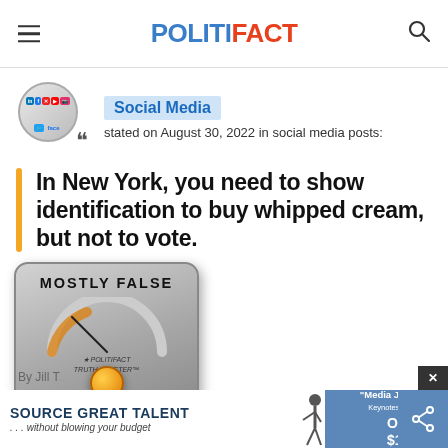POLITIFACT
Social Media stated on August 30, 2022 in social media posts:
In New York, you need to show identification to buy whipped cream, but not to vote.
[Figure (illustration): PolitiFact Truth-O-Meter showing MOSTLY FALSE rating with orange indicator ball]
By Jill T...